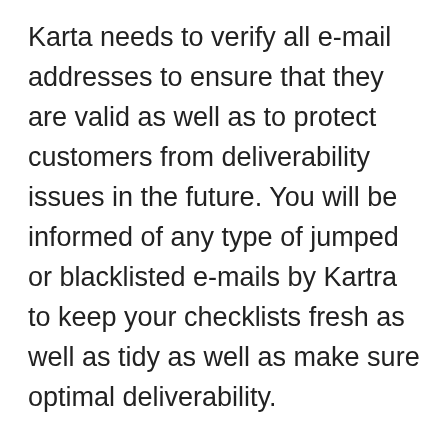Karta needs to verify all e-mail addresses to ensure that they are valid as well as to protect customers from deliverability issues in the future. You will be informed of any type of jumped or blacklisted e-mails by Kartra to keep your checklists fresh as well as tidy as well as make sure optimal deliverability.
Sending broadcasts is very easy as well as it the Kartra e-mail system also allows you to A/B split test emails to provide your indication on li...